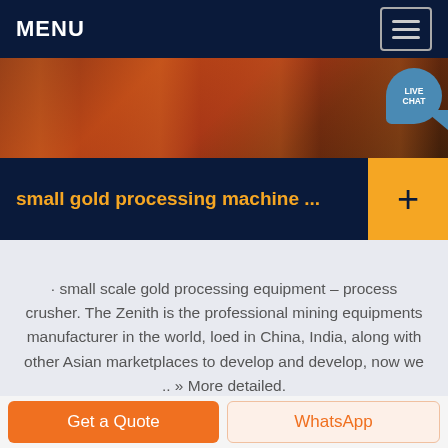MENU
[Figure (photo): Industrial mining equipment, reddish-orange machinery]
small gold processing machine ...
· small scale gold processing equipment – process crusher. The Zenith is the professional mining equipments manufacturer in the world, loed in China, India, along with other Asian marketplaces to develop and develop, now we .. » More detailed.
[Figure (photo): Mining equipment, dark/grey industrial scene]
Get a Quote
WhatsApp